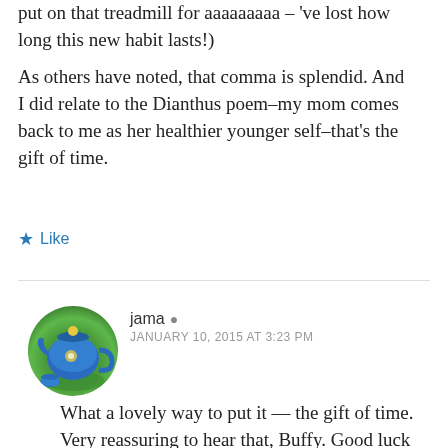put on that treadmill for aaaaaaaaa – ’ve lost how long this new habit lasts!) As others have noted, that comma is splendid. And I did relate to the Dianthus poem–my mom comes back to me as her healthier younger self–that's the gift of time.
★ Like
jama JANUARY 10, 2015 AT 3:23 PM
What a lovely way to put it — the gift of time. Very reassuring to hear that, Buffy. Good luck with your new treadmill set-up. I couldn't read that way; it would make me dizzy. I know